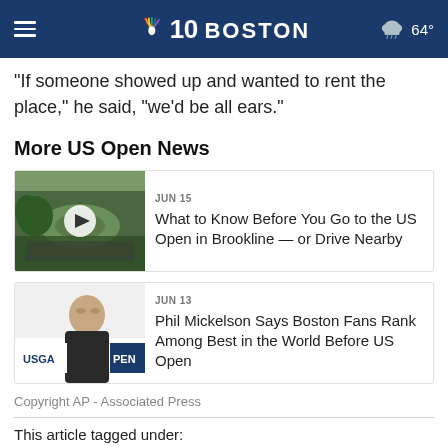NBC10 Boston — 64°
"If someone showed up and wanted to rent the place," he said, "we'd be all ears."
More US Open News
[Figure (photo): Aerial view of golf course with crowd of spectators, play button overlay]
JUN 15
What to Know Before You Go to the US Open in Brookline — or Drive Nearby
[Figure (photo): Phil Mickelson headshot with USGA US Open banner in background]
JUN 13
Phil Mickelson Says Boston Fans Rank Among Best in the World Before US Open
Copyright AP - Associated Press
This article tagged under:
US OPEN · MASSACHUSETTS · GOLF · BROOKLINE ·